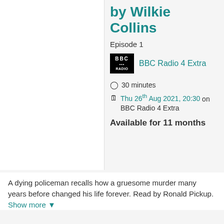by Wilkie Collins
Episode 1
[Figure (logo): BBC Radio 4 Extra logo - black box with white BBC text and dots below, with 'BBC Radio 4 Extra' in teal text beside it]
30 minutes
Thu 26th Aug 2021, 20:30 on BBC Radio 4 Extra
Available for 11 months
A dying policeman recalls how a gruesome murder many years before changed his life forever. Read by Ronald Pickup. Show more